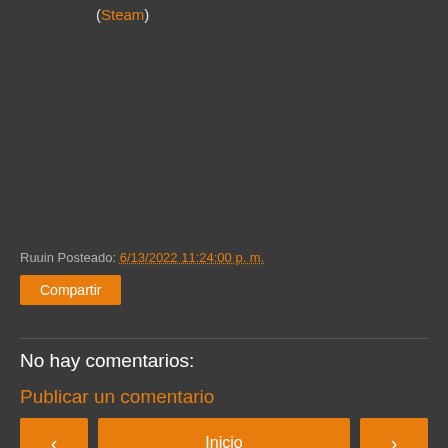(Steam)
Ruuin Posteado: 6/13/2022 11:24:00 p. m.
Compartir
No hay comentarios:
Publicar un comentario
‹
Inicio
›
Ver versión web
Con la tecnología de Blogger.